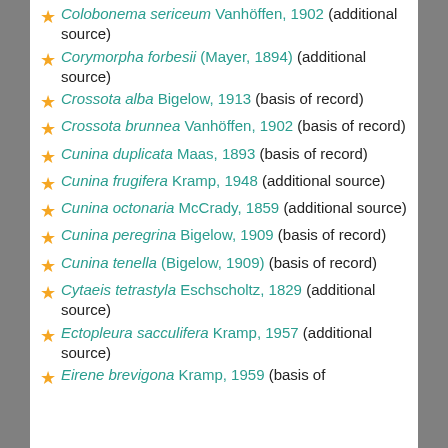Colobonema sericeum Vanhöffen, 1902 (additional source)
Corymorpha forbesii (Mayer, 1894) (additional source)
Crossota alba Bigelow, 1913 (basis of record)
Crossota brunnea Vanhöffen, 1902 (basis of record)
Cunina duplicata Maas, 1893 (basis of record)
Cunina frugifera Kramp, 1948 (additional source)
Cunina octonaria McCrady, 1859 (additional source)
Cunina peregrina Bigelow, 1909 (basis of record)
Cunina tenella (Bigelow, 1909) (basis of record)
Cytaeis tetrastyla Eschscholtz, 1829 (additional source)
Ectopleura sacculifera Kramp, 1957 (additional source)
Eirene brevigona Kramp, 1959 (basis of